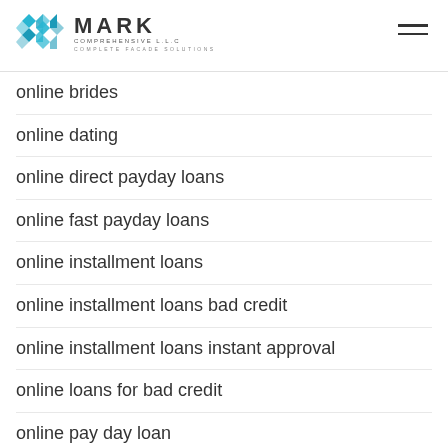MARK COMPREHENSIVE L.L.C — COMPLETE FACADE SOLUTIONS
online brides
online dating
online direct payday loans
online fast payday loans
online installment loans
online installment loans bad credit
online installment loans instant approval
online loans for bad credit
online pay day loan
online pay day loans